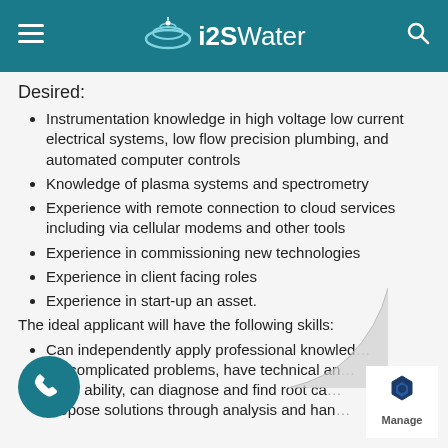i2S Water
Desired:
Instrumentation knowledge in high voltage low current electrical systems, low flow precision plumbing, and automated computer controls
Knowledge of plasma systems and spectrometry
Experience with remote connection to cloud services including via cellular modems and other tools
Experience in commissioning new technologies
Experience in client facing roles
Experience in start-up an asset.
The ideal applicant will have the following skills:
Can independently apply professional knowledge to solve complicated problems, have technical and practical ability, can diagnose and find root causes, propose solutions through analysis and hands-on...